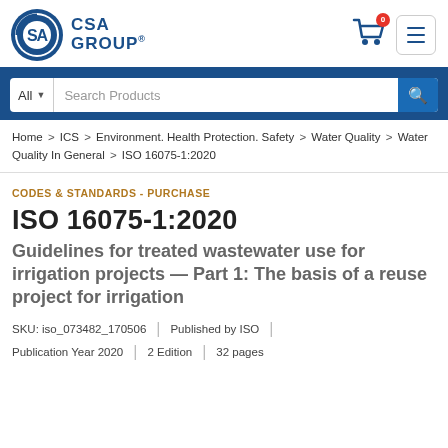[Figure (logo): CSA Group logo — circular blue emblem with stylized 'SA' letters inside, next to 'CSA GROUP' text in bold blue with trademark symbol]
[Figure (infographic): Shopping cart icon with red badge showing '0', and a hamburger menu icon button]
[Figure (infographic): Search bar with 'All' dropdown and 'Search Products' placeholder text and magnifying glass button]
Home > ICS > Environment. Health Protection. Safety > Water Quality > Water Quality In General > ISO 16075-1:2020
CODES & STANDARDS - PURCHASE
ISO 16075-1:2020
Guidelines for treated wastewater use for irrigation projects — Part 1: The basis of a reuse project for irrigation
SKU: iso_073482_170506 | Published by ISO
Publication Year 2020 | 2 Edition | 32 pages